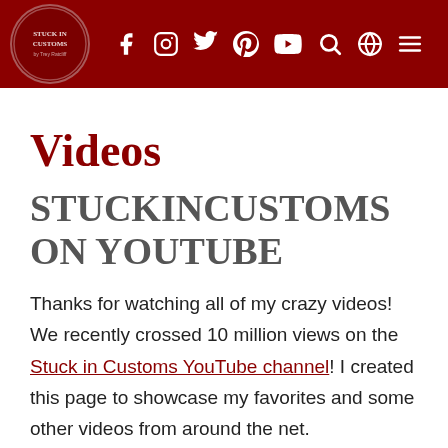Stuck in Customs — navigation header with social media icons
Videos
STUCKINCUSTOMS ON YOUTUBE
Thanks for watching all of my crazy videos! We recently crossed 10 million views on the Stuck in Customs YouTube channel! I created this page to showcase my favorites and some other videos from around the net.